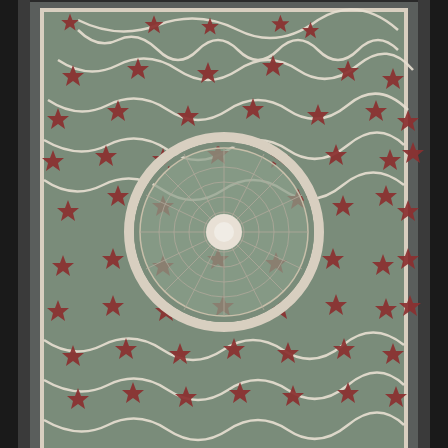[Figure (photo): Photograph of an ornate Islamic architectural decorative panel, likely from a mosque or mausoleum. The upper portion features an elaborate marble inlay (pietra dura or cosmati-style) panel with intricate arabesque floral scrollwork in dark green, deep red/burgundy, and white marble. The pattern radiates from a central circular medallion with a geometric lattice design in green and white. The composition is symmetrical with repeating star-shaped flowers, curling vines, and leaf motifs filling the entire rectangular panel. Below is a dark grey/black marble horizontal band, followed by an Arabic inscription band carved or inlaid in lighter stone. At the very bottom is another inscription panel with Arabic calligraphy in white on a light background, flanked by ornamental scroll brackets.]